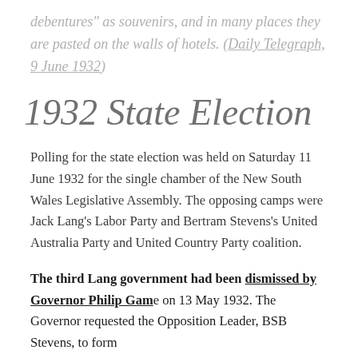debentures" as souvenirs, and in many places they are pasted on the walls of hotels. (Daily Telegraph, 9 June 1932)
1932 State Election
Polling for the state election was held on Saturday 11 June 1932 for the single chamber of the New South Wales Legislative Assembly. The opposing camps were Jack Lang's Labor Party and Bertram Stevens's United Australia Party and United Country Party coalition.
The third Lang government had been dismissed by Governor Philip Game on 13 May 1932. The Governor requested the Opposition Leader, BSB Stevens, to form